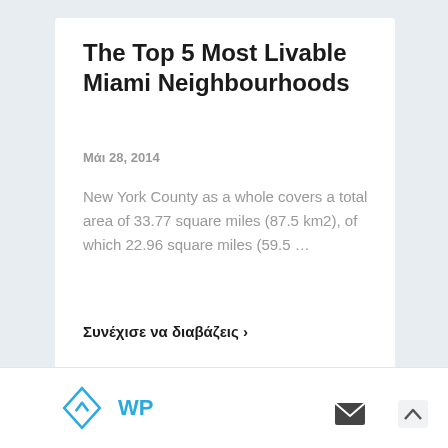The Top 5 Most Livable Miami Neighbourhoods
Μάι 28, 2014
New York County as a whole covers a total area of 33.77 square miles (87.5 km2), of which 22.96 square miles (59.5 …
Συνέχισε να διαβάζεις ›
WP